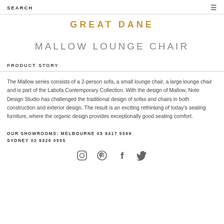SEARCH ≡
GREAT DANE
MALLOW LOUNGE CHAIR
PRODUCT STORY
The Mallow series consists of a 2-person sofa, a small lounge chair, a large lounge chair and is part of the Labofa Contemporary Collection. With the design of Mallow, Note Design Studio has challenged the traditional design of sofas and chairs in both construction and exterior design. The result is an exciting rethinking of today's seating furniture, where the organic design provides exceptionally good seating comfort.
OUR SHOWROOMS: MELBOURNE 03 9417 5599 SYDNEY 02 9326 0555
[Figure (illustration): Social media icons: Instagram, Pinterest, Facebook, Twitter]